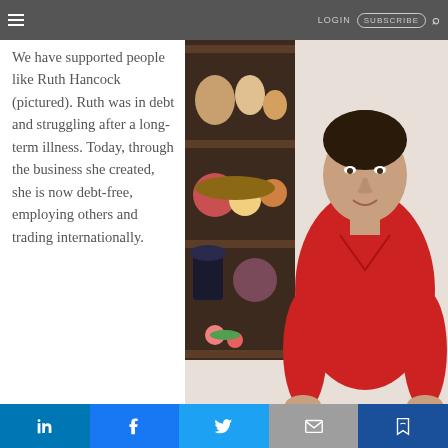LOGIN  SUBSCRIBE
We have supported people like Ruth Hancock (pictured). Ruth was in debt and struggling after a long-term illness. Today, through the business she created, she is now debt-free, employing others and trading internationally.
[Figure (photo): Woman in red top smiling, standing in front of a wooden shelf with decorative items]
Social share bar: LinkedIn, Facebook, Twitter, Email, Bookmark